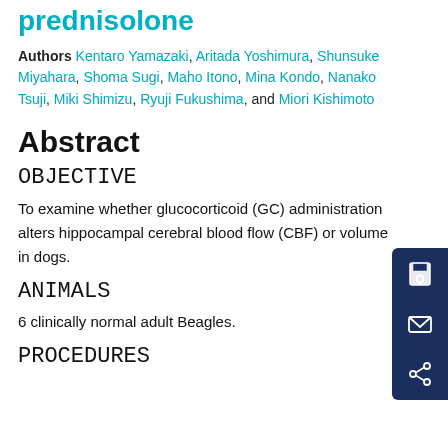prednisolone
Authors Kentaro Yamazaki, Aritada Yoshimura, Shunsuke Miyahara, Shoma Sugi, Maho Itono, Mina Kondo, Nanako Tsuji, Miki Shimizu, Ryuji Fukushima, and Miori Kishimoto
Abstract
OBJECTIVE
To examine whether glucocorticoid (GC) administration alters hippocampal cerebral blood flow (CBF) or volume in dogs.
ANIMALS
6 clinically normal adult Beagles.
PROCEDURES